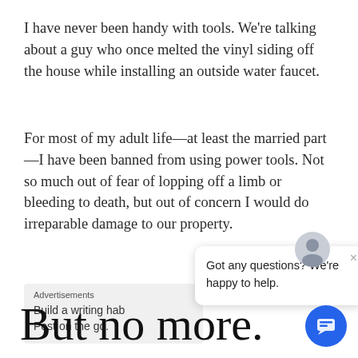I have never been handy with tools. We're talking about a guy who once melted the vinyl siding off the house while installing an outside water faucet.
For most of my adult life—at least the married part—I have been banned from using power tools. Not so much out of fear of lopping off a limb or bleeding to death, but out of concern I would do irreparable damage to our property.
Advertisements
Build a writing hab Post on the go.
[Figure (screenshot): Chat popup overlay with avatar icon, close button, and message text: 'Got any questions? We're happy to help.']
But no more.